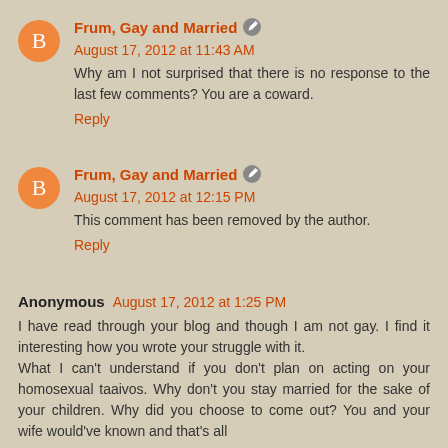Frum, Gay and Married — August 17, 2012 at 11:43 AM
Why am I not surprised that there is no response to the last few comments? You are a coward.
Reply
Frum, Gay and Married — August 17, 2012 at 12:15 PM
This comment has been removed by the author.
Reply
Anonymous — August 17, 2012 at 1:25 PM
I have read through your blog and though I am not gay. I find it interesting how you wrote your struggle with it. What I can't understand if you don't plan on acting on your homosexual taaivos. Why don't you stay married for the sake of your children. Why did you choose to come out? You and your wife would've known and that's all